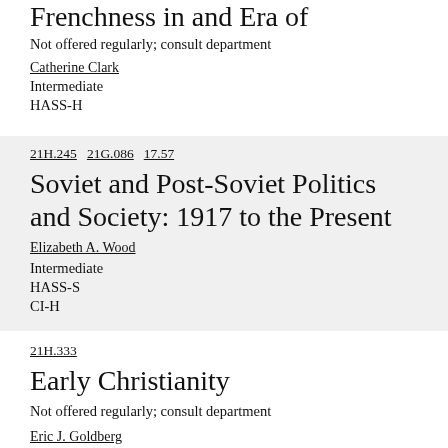Frenchness in and Era of Globalization
Not offered regularly; consult department
Catherine Clark
Intermediate
HASS-H
21H.245   21G.086   17.57
Soviet and Post-Soviet Politics and Society: 1917 to the Present
Elizabeth A. Wood
Intermediate
HASS-S
CI-H
21H.333
Early Christianity
Not offered regularly; consult department
Eric J. Goldberg